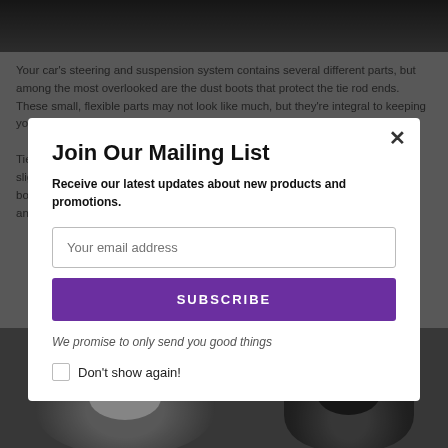[Figure (photo): Close-up photo of black rubber dust boot car part at the top of the page]
Your car's steering and suspension system contains several different parts, but among the most overlooked are the dust boots that protect the tie rod ends. These small, flexible parts may not look like much, but they're integral to keeping your car steering smoothly.
Tie rod boots are also one of the easiest car parts to replace. If you're even slightly mechanically inclined, you should have no trouble replacing your own boots. Here's what you need to know about tie rod end dust boot replacement and when you might need to do it.
Join Our Mailing List
Receive our latest updates about new products and promotions.
Your email address
SUBSCRIBE
We promise to only send you good things
Don't show again!
[Figure (photo): Two black rubber dust boots shown at the bottom of the page]